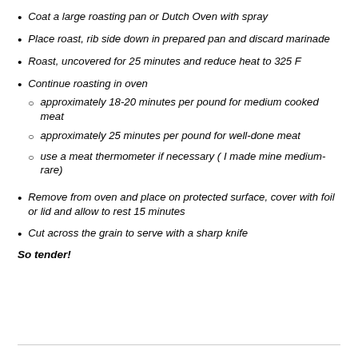Coat a large roasting pan or Dutch Oven with spray
Place roast, rib side down in prepared pan and discard marinade
Roast, uncovered for 25 minutes and reduce heat to 325 F
Continue roasting in oven
approximately 18-20 minutes per pound for medium cooked meat
approximately 25 minutes per pound for well-done meat
use a meat thermometer if necessary ( I made mine medium-rare)
Remove from oven and place on protected surface, cover with foil or lid and allow to rest 15 minutes
Cut across the grain to serve with a sharp knife
So tender!